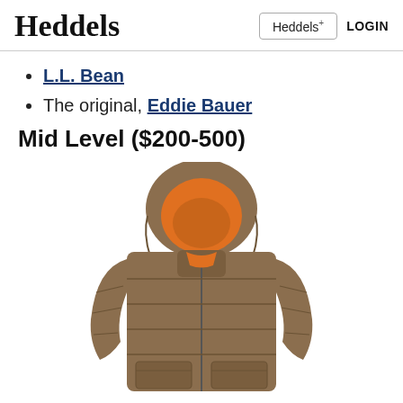Heddels  Heddels+  LOGIN
L.L. Bean
The original, Eddie Bauer
Mid Level ($200-500)
[Figure (photo): A tan/khaki puffer down jacket with an orange-lined hood, shown from the front with the hood up. The jacket features quilted panels and lower patch pockets. The North Face brand jacket photographed on a white background.]